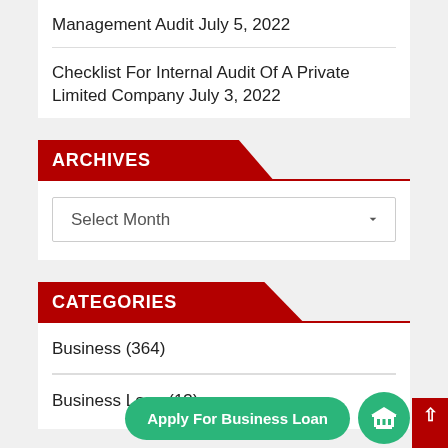Management Audit July 5, 2022
Checklist For Internal Audit Of A Private Limited Company July 3, 2022
ARCHIVES
Select Month
CATEGORIES
Business (364)
Business Loan (13)
Apply For Business Loan